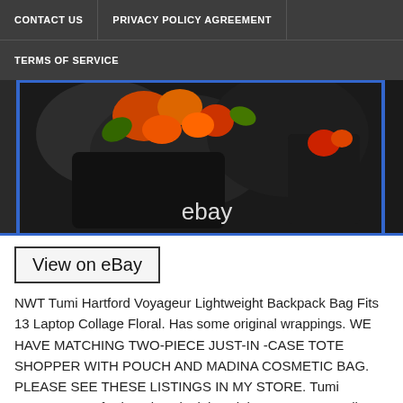CONTACT US | PRIVACY POLICY AGREEMENT | TERMS OF SERVICE
[Figure (photo): Photo of a Tumi Hartford Voyageur floral backpack on a surface, with 'ebay' text watermark overlaid]
View on eBay
NWT Tumi Hartford Voyageur Lightweight Backpack Bag Fits 13 Laptop Collage Floral. Has some original wrappings. WE HAVE MATCHING TWO-PIECE JUST-IN -CASE TOTE SHOPPER WITH POUCH AND MADINA COSMETIC BAG. PLEASE SEE THESE LISTINGS IN MY STORE. Tumi Voyageur Hartford Backpack Lightweight Bag Laptop Collage Floral. Waterproof pocket with air vent. Zip entry to main compartment. Leather top